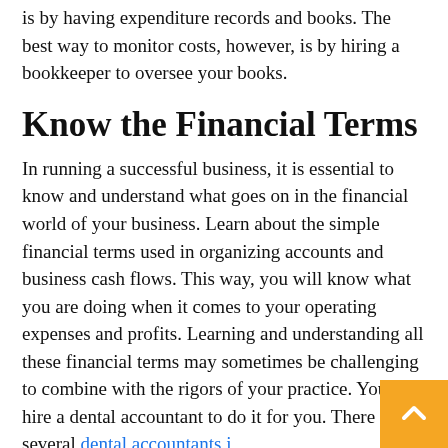is by having expenditure records and books. The best way to monitor costs, however, is by hiring a bookkeeper to oversee your books.
Know the Financial Terms
In running a successful business, it is essential to know and understand what goes on in the financial world of your business. Learn about the simple financial terms used in organizing accounts and business cash flows. This way, you will know what you are doing when it comes to your operating expenses and profits. Learning and understanding all these financial terms may sometimes be challenging to combine with the rigors of your practice. You can hire a dental accountant to do it for you. There are several dental accountants in San Diego with adequate knowledge on how to handle your accounts properly.